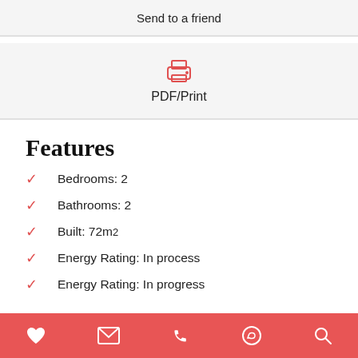Send to a friend
[Figure (illustration): PDF/Print button with red printer icon and label]
Features
Bedrooms: 2
Bathrooms: 2
Built: 72m²
Energy Rating: In process
Energy Rating: In progress
Heart | Email | Phone | WhatsApp | Search